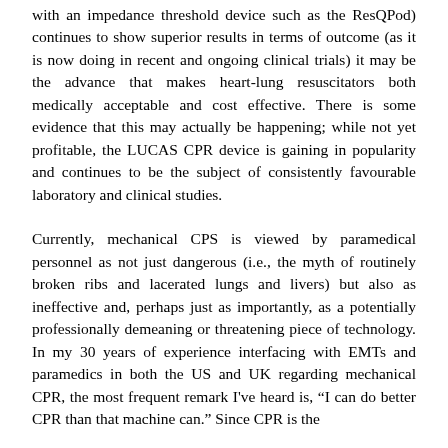with an impedance threshold device such as the ResQPod) continues to show superior results in terms of outcome (as it is now doing in recent and ongoing clinical trials) it may be the advance that makes heart-lung resuscitators both medically acceptable and cost effective. There is some evidence that this may actually be happening; while not yet profitable, the LUCAS CPR device is gaining in popularity and continues to be the subject of consistently favourable laboratory and clinical studies.
Currently, mechanical CPS is viewed by paramedical personnel as not just dangerous (i.e., the myth of routinely broken ribs and lacerated lungs and livers) but also as ineffective and, perhaps just as importantly, as a potentially professionally demeaning or threatening piece of technology. In my 30 years of experience interfacing with EMTs and paramedics in both the US and UK regarding mechanical CPR, the most frequent remark I've heard is, "I can do better CPR than that machine can." Since CPR is the